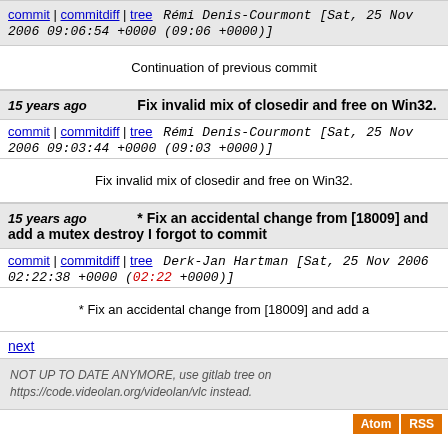commit | commitdiff | tree   Rémi Denis-Courmont [Sat, 25 Nov 2006 09:06:54 +0000 (09:06 +0000)]
Continuation of previous commit
15 years ago   Fix invalid mix of closedir and free on Win32.
commit | commitdiff | tree   Rémi Denis-Courmont [Sat, 25 Nov 2006 09:03:44 +0000 (09:03 +0000)]
Fix invalid mix of closedir and free on Win32.
15 years ago   * Fix an accidental change from [18009] and add a mutex destroy I forgot to commit
commit | commitdiff | tree   Derk-Jan Hartman [Sat, 25 Nov 2006 02:22:38 +0000 (02:22 +0000)]
* Fix an accidental change from [18009] and add a
next
NOT UP TO DATE ANYMORE, use gitlab tree on https://code.videolan.org/videolan/vlc instead.
Atom RSS